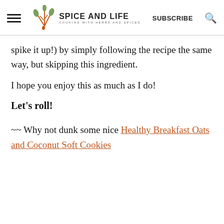SPICE AND LIFE — COOKING WITH HERBS AND SPICES | SUBSCRIBE
spike it up!) by simply following the recipe the same way, but skipping this ingredient.
I hope you enjoy this as much as I do!
Let's roll!
~~ Why not dunk some nice Healthy Breakfast Oats and Coconut Soft Cookies